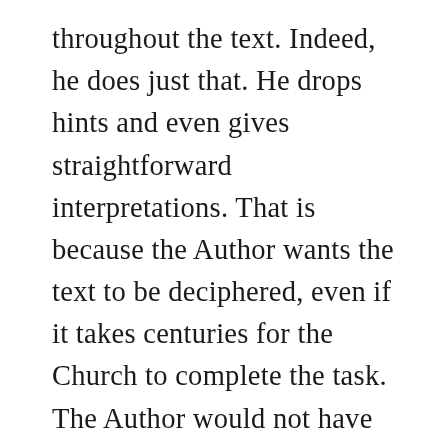throughout the text. Indeed, he does just that. He drops hints and even gives straightforward interpretations. That is because the Author wants the text to be deciphered, even if it takes centuries for the Church to complete the task. The Author would not have revealed the Revelation if He did not want it deciphered.